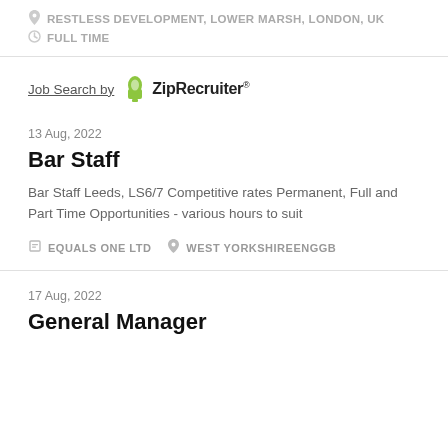RESTLESS DEVELOPMENT, LOWER MARSH, LONDON, UK
FULL TIME
[Figure (logo): Job Search by ZipRecruiter logo with green chair icon]
13 Aug, 2022
Bar Staff
Bar Staff Leeds, LS6/7 Competitive rates Permanent, Full and Part Time Opportunities - various hours to suit
EQUALS ONE LTD   WEST YORKSHIREENGGB
17 Aug, 2022
General Manager